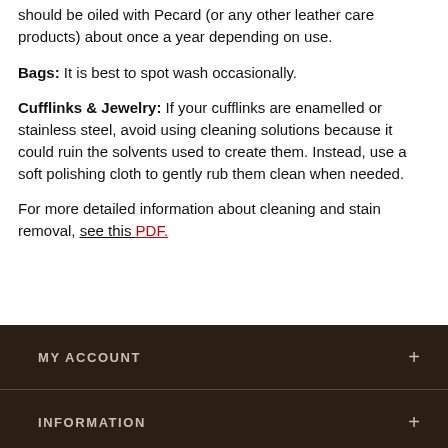should be oiled with Pecard (or any other leather care products) about once a year depending on use.
Bags: It is best to spot wash occasionally.
Cufflinks & Jewelry: If your cufflinks are enamelled or stainless steel, avoid using cleaning solutions because it could ruin the solvents used to create them. Instead, use a soft polishing cloth to gently rub them clean when needed.
For more detailed information about cleaning and stain removal, see this PDF.
MY ACCOUNT
INFORMATION